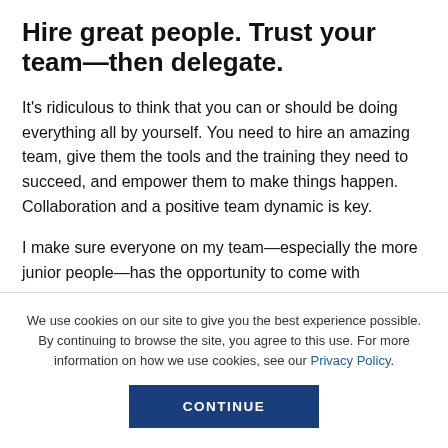Hire great people. Trust your team—then delegate.
It's ridiculous to think that you can or should be doing everything all by yourself. You need to hire an amazing team, give them the tools and the training they need to succeed, and empower them to make things happen. Collaboration and a positive team dynamic is key.
I make sure everyone on my team—especially the more junior people—has the opportunity to come with
We use cookies on our site to give you the best experience possible. By continuing to browse the site, you agree to this use. For more information on how we use cookies, see our Privacy Policy.